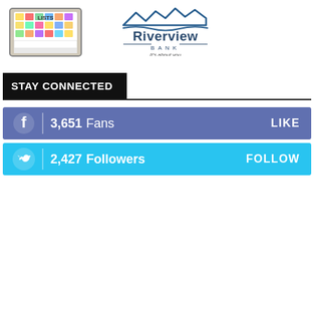[Figure (logo): Lists/sticky notes product logo with colorful sticky notes on a tablet-like device]
[Figure (logo): Riverview Bank logo with mountain/wave graphic and tagline 'It's about you']
STAY CONNECTED
3,651  Fans   LIKE
2,427  Followers   FOLLOW